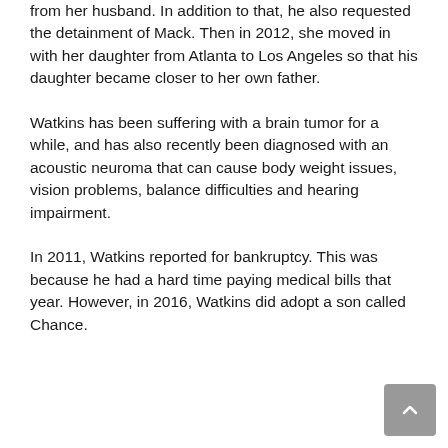from her husband. In addition to that, he also requested the detainment of Mack. Then in 2012, she moved in with her daughter from Atlanta to Los Angeles so that his daughter became closer to her own father.
Watkins has been suffering with a brain tumor for a while, and has also recently been diagnosed with an acoustic neuroma that can cause body weight issues, vision problems, balance difficulties and hearing impairment.
In 2011, Watkins reported for bankruptcy. This was because he had a hard time paying medical bills that year. However, in 2016, Watkins did adopt a son called Chance.